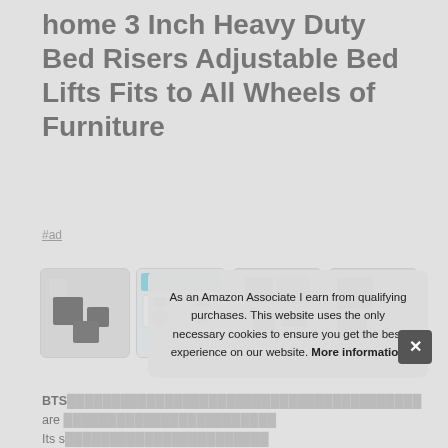home 3 Inch Heavy Duty Bed Risers Adjustable Bed Lifts Fits to All Wheels of Furniture
#ad
[Figure (photo): Four product images: black bed risers, how to place casters diagram, dimensional drawings, and annotated product diagram]
BTS... are Its s Adju with can also stack them to get more height.
As an Amazon Associate I earn from qualifying purchases. This website uses the only necessary cookies to ensure you get the best experience on our website. More information